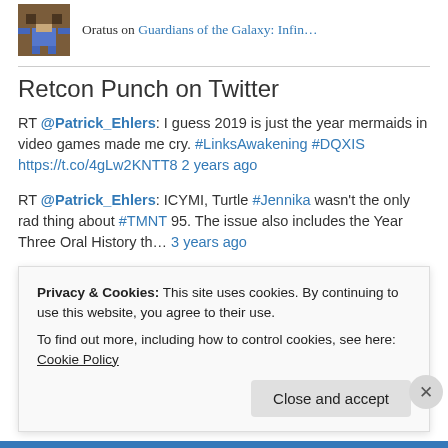Oratus on Guardians of the Galaxy: Infin…
Retcon Punch on Twitter
RT @Patrick_Ehlers: I guess 2019 is just the year mermaids in video games made me cry. #LinksAwakening #DQXIS https://t.co/4gLw2KNTT8 2 years ago
RT @Patrick_Ehlers: ICYMI, Turtle #Jennika wasn't the only rad thing about #TMNT 95. The issue also includes the Year Three Oral History th… 3 years ago
Privacy & Cookies: This site uses cookies. By continuing to use this website, you agree to their use.
To find out more, including how to control cookies, see here: Cookie Policy
Close and accept